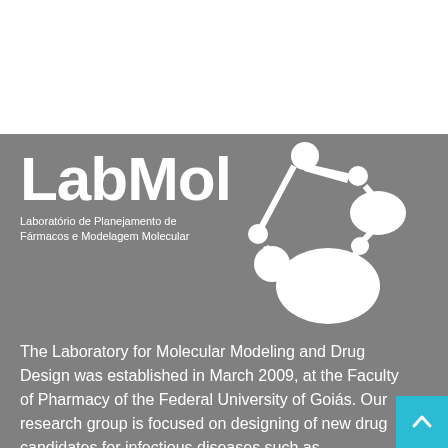[Figure (logo): LabMol logo — white text 'LabMol' with molecule graphic on gray background, subtitle 'Laboratório de Planejamento de Fármacos e Modelagem Molecular']
The Laboratory for Molecular Modeling and Drug Design was established in March 2009, at the Faculty of Pharmacy of the Federal University of Goiás. Our research group is focused on designing of new drug candidates for infectious diseases such as